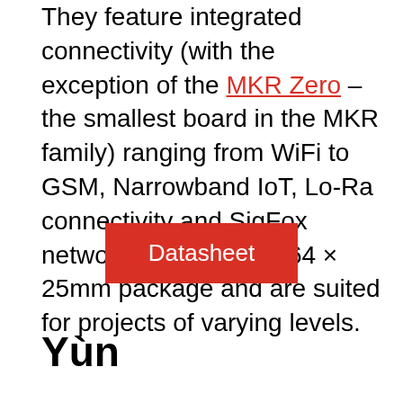They feature integrated connectivity (with the exception of the MKR Zero – the smallest board in the MKR family) ranging from WiFi to GSM, Narrowband IoT, Lo-Ra connectivity and SigFox networking in their 67.64 × 25mm package and are suited for projects of varying levels.
[Figure (other): Red 'Datasheet' button]
Yùn